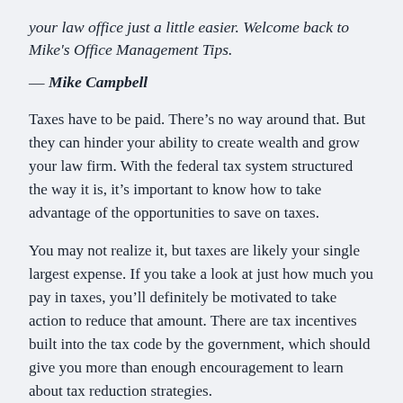your law office just a little easier. Welcome back to Mike's Office Management Tips.
— Mike Campbell
Taxes have to be paid. There's no way around that. But they can hinder your ability to create wealth and grow your law firm. With the federal tax system structured the way it is, it's important to know how to take advantage of the opportunities to save on taxes.
You may not realize it, but taxes are likely your single largest expense. If you take a look at just how much you pay in taxes, you'll definitely be motivated to take action to reduce that amount. There are tax incentives built into the tax code by the government, which should give you more than enough encouragement to learn about tax reduction strategies.